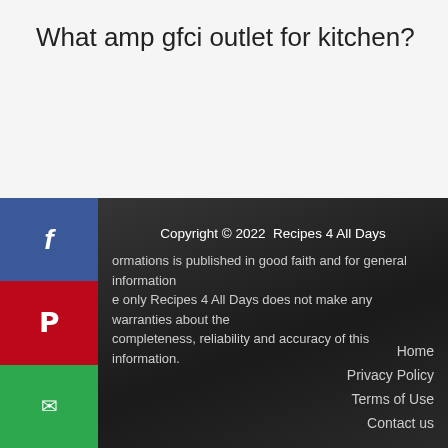What amp gfci outlet for kitchen?
Copyright © 2022  Recipes 4 All Days
ormations is published in good faith and for general information
e only Recipes 4 All Days does not make any warranties about the
completeness, reliability and accuracy of this information.
Home
Privacy Policy
Terms of Use
Contact us